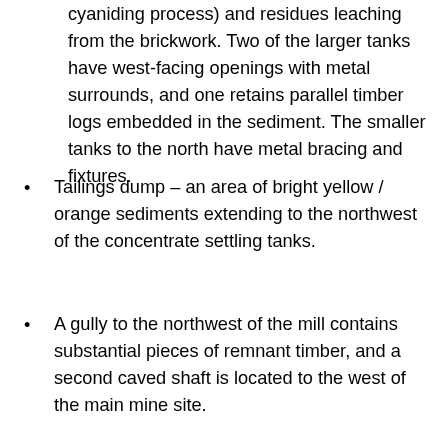cyaniding process) and residues leaching from the brickwork. Two of the larger tanks have west-facing openings with metal surrounds, and one retains parallel timber logs embedded in the sediment. The smaller tanks to the north have metal bracing and fixtures.
Tailings dump – an area of bright yellow / orange sediments extending to the northwest of the concentrate settling tanks.
A gully to the northwest of the mill contains substantial pieces of remnant timber, and a second caved shaft is located to the west of the main mine site.
Mabel Mill Tailings Treatment Plant
(c. 1904-1917